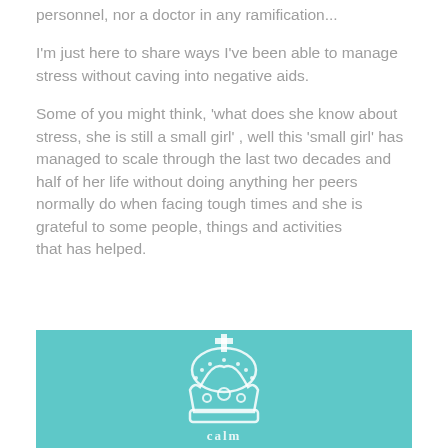personnel, nor a doctor in any ramification...
I'm just here to share ways I've been able to manage stress without caving into negative aids.
Some of you might think, ‘what does she know about stress, she is still a small girl’ , well this ‘small girl’ has managed to scale through the last two decades and half of her life without doing anything her peers normally do when facing tough times and she is grateful to some people, things and activities that has helped.
[Figure (illustration): Teal/turquoise colored background with a white decorative crown illustration and partial text below it.]